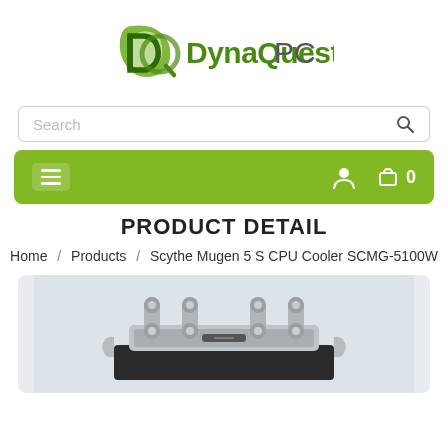DynaQuest PC
Search
☰  👤  🛒 0
PRODUCT DETAIL
Home / Products / Scythe Mugen 5 S CPU Cooler SCMG-5100W
[Figure (photo): Photo of Scythe Mugen 5 S CPU Cooler SCMG-5100W showing the top of the cooler with mounting hardware against a light blue-gray background]